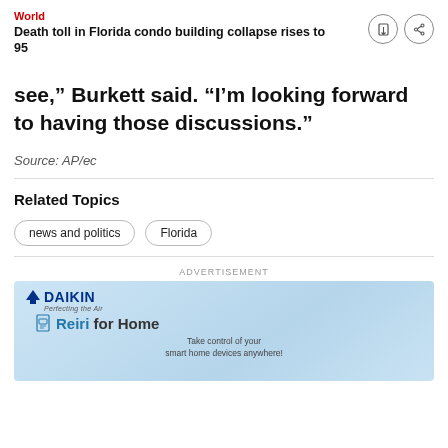World
Death toll in Florida condo building collapse rises to 95
see,” Burkett said. “I’m looking forward to having those discussions.”
Source: AP/ec
Related Topics
news and politics
Florida
[Figure (other): Daikin advertisement banner showing Daikin logo with tagline 'Perfecting the Air' and Reiri for Home product with text 'Take control of your smart home devices anywhere!']